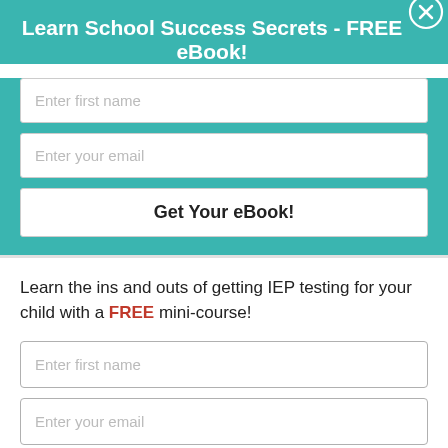Learn School Success Secrets - FREE eBook!
Enter first name
Enter your email
Get Your eBook!
Learn the ins and outs of getting IEP testing for your child with a FREE mini-course!
Enter first name
Enter your email
Learn IEP Testing Secrets!
powered by MailMunch